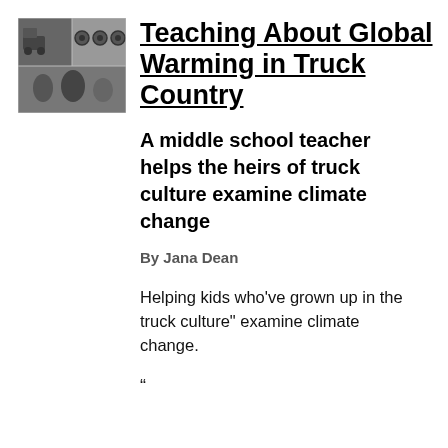[Figure (photo): Black and white photo showing trucks and vehicle-related imagery]
Teaching About Global Warming in Truck Country
A middle school teacher helps the heirs of truck culture examine climate change
By Jana Dean
Helping kids who've grown up in the truck culture" examine climate change.
“